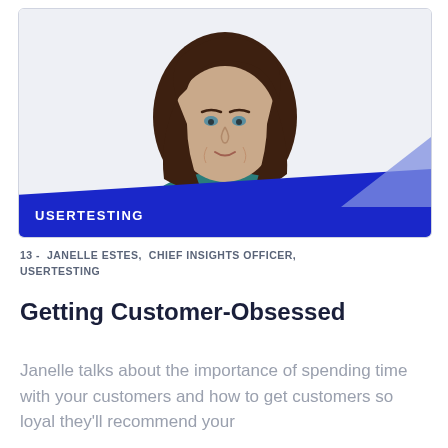[Figure (photo): Headshot of Janelle Estes, a woman with long brown hair wearing a teal top, with a blue diagonal band at the bottom displaying the USERTESTING logo in white text. A light blue accent triangle appears at the bottom right.]
13 -  JANELLE ESTES,  CHIEF INSIGHTS OFFICER,  USERTESTING
Getting Customer-Obsessed
Janelle talks about the importance of spending time with your customers and how to get customers so loyal they'll recommend your